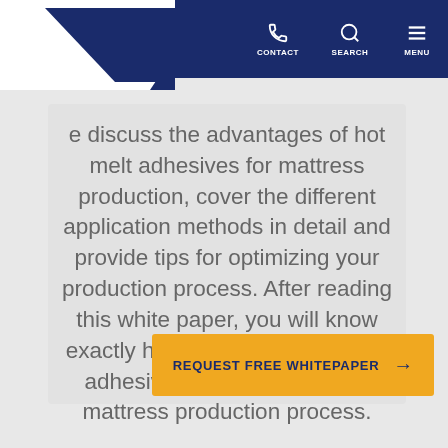[Figure (logo): SABA company logo — white angled shape with blue parallelogram and SABA text on dark navy navigation bar]
CONTACT  SEARCH  MENU
e discuss the advantages of hot melt adhesives for mattress production, cover the different application methods in detail and provide tips for optimizing your production process. After reading this white paper, you will know exactly how to integrate hot melt adhesives perfectly into your mattress production process.
REQUEST FREE WHITEPAPER →